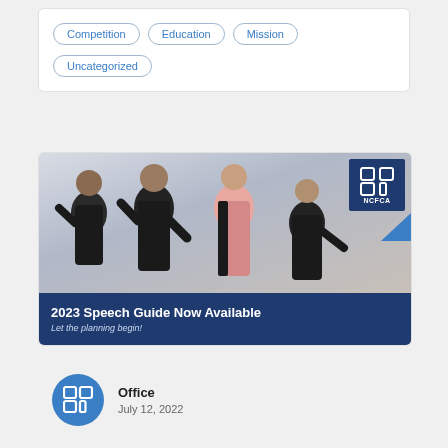Competition
Education
Mission
Uncategorized
[Figure (photo): Four students in formal attire posing expressively against a light background, with NCFCA logo badge in top right corner, and a dark blue banner at the bottom reading '2023 Speech Guide Now Available — Let the planning begin!']
Office
July 12, 2022